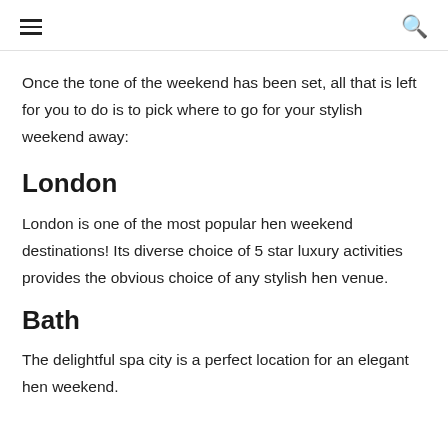≡  🔍
Once the tone of the weekend has been set, all that is left for you to do is to pick where to go for your stylish weekend away:
London
London is one of the most popular hen weekend destinations! Its diverse choice of 5 star luxury activities provides the obvious choice of any stylish hen venue.
Bath
The delightful spa city is a perfect location for an elegant hen weekend.